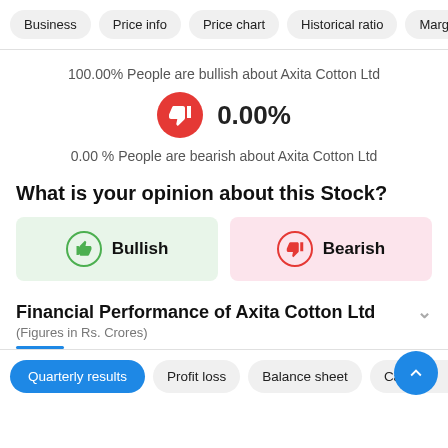Business | Price info | Price chart | Historical ratio | Marg
100.00% People are bullish about Axita Cotton Ltd
0.00%
0.00 % People are bearish about Axita Cotton Ltd
What is your opinion about this Stock?
Bullish
Bearish
Financial Performance of Axita Cotton Ltd
(Figures in Rs. Crores)
Quarterly results | Profit loss | Balance sheet | Cashflow